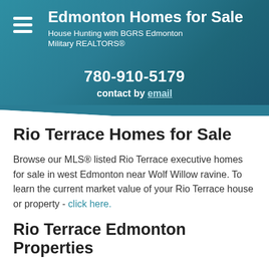Edmonton Homes for Sale — House Hunting with BGRS Edmonton Military REALTORS®
780-910-5179 contact by email
Rio Terrace Homes for Sale
Browse our MLS® listed Rio Terrace executive homes for sale in west Edmonton near Wolf Willow ravine. To learn the current market value of your Rio Terrace house or property - click here.
Rio Terrace Edmonton Properties